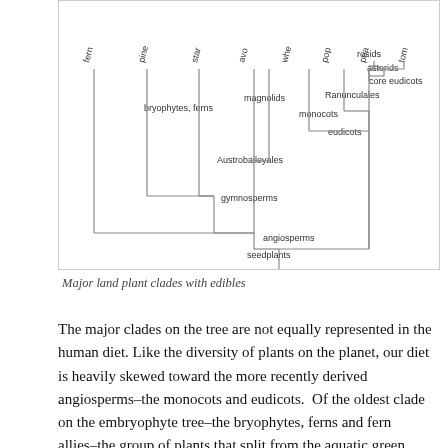[Figure (other): Phylogenetic tree (cladogram) showing major land plant clades with edible plants. Tips labeled: fern, pine, star (anise?), avo(cado), whe(at), pop(py?), pea, tom(ato). Internal nodes labeled: bryophytes/ferns, magnolids, Ranunculales, monocots, eudicots, rosids, asterids, core eudicots, Austrobaileyales, gymnosperms, angiosperms, seedplants.]
Major land plant clades with edibles
The major clades on the tree are not equally represented in the human diet. Like the diversity of plants on the planet, our diet is heavily skewed toward the more recently derived angiosperms–the monocots and eudicots. Of the oldest clade on the embryophyte tree–the bryophytes, ferns and fern allies–the group of plants that split from the aquatic green algal ancestor and began the colonization of land, our